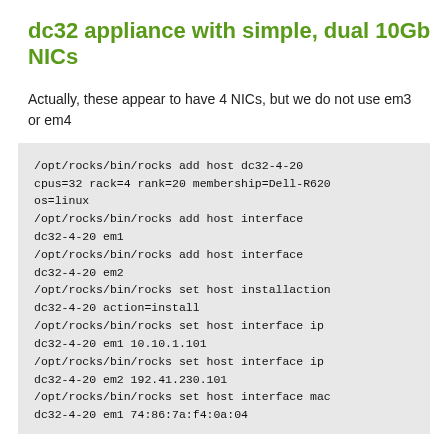dc32 appliance with simple, dual 10Gb NICs
Actually, these appear to have 4 NICs, but we do not use em3 or em4
/opt/rocks/bin/rocks add host dc32-4-20 cpus=32 rack=4 rank=20 membership=Dell-R620 os=linux
/opt/rocks/bin/rocks add host interface dc32-4-20 em1
/opt/rocks/bin/rocks add host interface dc32-4-20 em2
/opt/rocks/bin/rocks set host installaction dc32-4-20 action=install
/opt/rocks/bin/rocks set host interface ip dc32-4-20 em1 10.10.1.101
/opt/rocks/bin/rocks set host interface ip dc32-4-20 em2 192.41.230.101
/opt/rocks/bin/rocks set host interface mac dc32-4-20 em1 74:86:7a:f4:0a:04